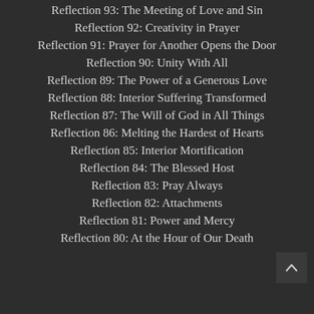Reflection 93: The Meeting of Love and Sin
Reflection 92: Creativity in Prayer
Reflection 91: Prayer for Another Opens the Door
Reflection 90: Unity With All
Reflection 89: The Power of a Generous Love
Reflection 88: Interior Suffering Transformed
Reflection 87: The Will of God in All Things
Reflection 86: Melting the Hardest of Hearts
Reflection 85: Interior Mortification
Reflection 84: The Blessed Host
Reflection 83: Pray Always
Reflection 82: Attachments
Reflection 81: Power and Mercy
Reflection 80: At the Hour of Our Death